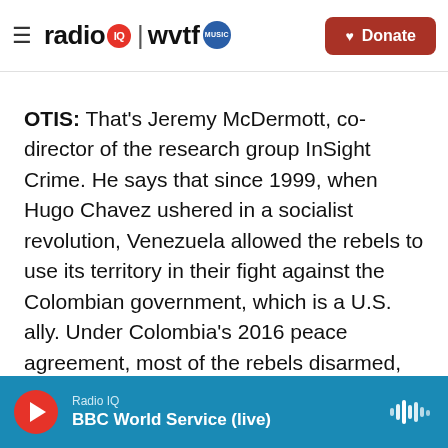radio IQ | wvtf MUSIC — Donate
OTIS: That's Jeremy McDermott, co-director of the research group InSight Crime. He says that since 1999, when Hugo Chavez ushered in a socialist revolution, Venezuela allowed the rebels to use its territory in their fight against the Colombian government, which is a U.S. ally. Under Colombia's 2016 peace agreement, most of the rebels disarmed, but some refused. And many of these guerrillas are thought to be smuggling Colombian cocaine through Venezuela in cahoots with the Venezuelan army. McDermott claims the fighting broke out when one guerrilla faction tried to bypass
Radio IQ — BBC World Service (live)